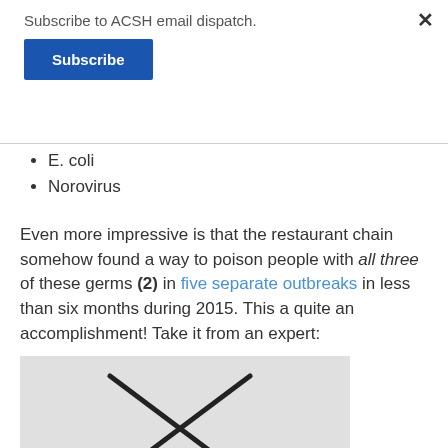Subscribe to ACSH email dispatch.
Subscribe
E. coli
Norovirus
Even more impressive is that the restaurant chain somehow found a way to poison people with all three of these germs (2) in five separate outbreaks in less than six months during 2015. This a quite an accomplishment! Take it from an expert:
[Figure (illustration): Gray placeholder image with an X (broken image indicator) showing a crossed pattern of two diagonal lines]